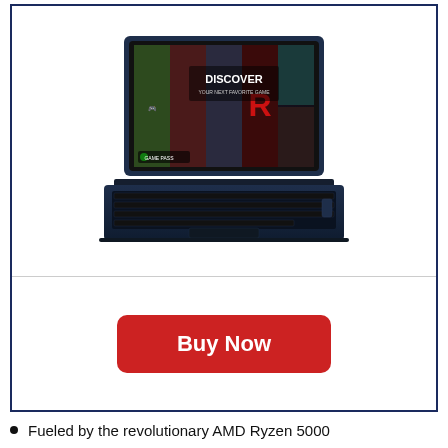[Figure (photo): Lenovo IdeaPad gaming laptop open showing screen with Xbox Game Pass 'DISCOVER YOUR NEXT FAVORITE GAME' display, dark navy chassis, backlit keyboard, viewed from front-top angle]
Buy Now
Fueled by the revolutionary AMD Ryzen 5000